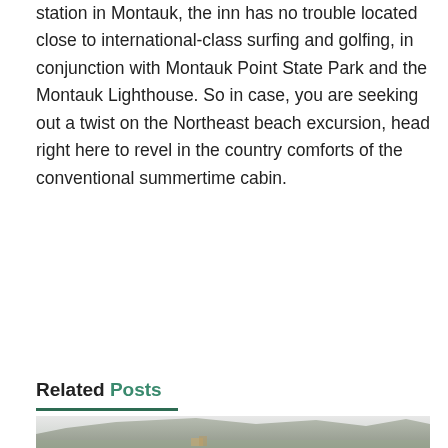station in Montauk, the inn has no trouble located close to international-class surfing and golfing, in conjunction with Montauk Point State Park and the Montauk Lighthouse. So in case, you are seeking out a twist on the Northeast beach excursion, head right here to revel in the country comforts of the conventional summertime cabin.
Related Posts
[Figure (photo): A mountainous landscape with rocky cliffs and some vegetation or structures visible in the lower portion, shown in a muted, hazy style.]